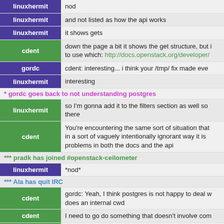linuxhermit: nod
linuxhermit: and not listed as how the api works
linuxhermit: it shows gets
cdent: down the page a bit it shows the get structure, but i to use which: http://docs.openstack.org/developer/
gordc: cdent: interesting... i think your /tmp/ fix made eve
linuxhermit: interesting
* gordc goes back to not understanding postgres
linuxhermit: so I'm gonna add it to the filters section as well so there
cdent: You're encountering the same sort of situation that in a sort of vaguely intentionally ignorant way it is problems in both the docs and the api
*** pradk has joined #openstack-ceilometer
linuxhermit: *nod*
*** Ala has quit IRC
cdent: gordc: Yeah, I think postgres is not happy to deal w does an internal cwd
cdent: I need to go do something that doesn't involve com
cdent: see ya guys later
*** nellysmitt has joined #openstack-ceilometer
gordc: lates